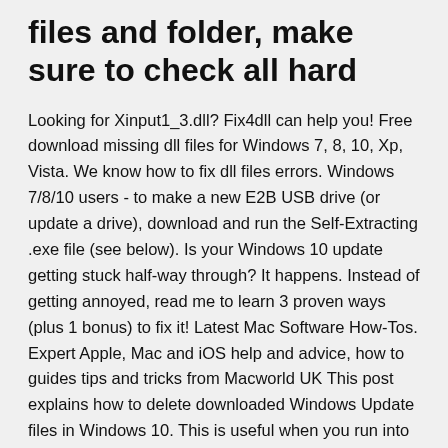files and folder, make sure to check all hard
Looking for Xinput1_3.dll? Fix4dll can help you! Free download missing dll files for Windows 7, 8, 10, Xp, Vista. We know how to fix dll files errors. Windows 7/8/10 users - to make a new E2B USB drive (or update a drive), download and run the Self-Extracting .exe file (see below). Is your Windows 10 update getting stuck half-way through? It happens. Instead of getting annoyed, read me to learn 3 proven ways (plus 1 bonus) to fix it! Latest Mac Software How-Tos. Expert Apple, Mac and iOS help and advice, how to guides tips and tricks from Macworld UK This post explains how to delete downloaded Windows Update files in Windows 10. This is useful when you run into issues though with updates.